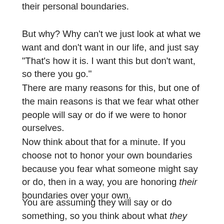their personal boundaries.
But why? Why can't we just look at what we want and don't want in our life, and just say “That's how it is. I want this but don't want, so there you go.”
There are many reasons for this, but one of the main reasons is that we fear what other people will say or do if we were to honor ourselves.
Now think about that for a minute. If you choose not to honor your own boundaries because you fear what someone might say or do, then in a way, you are honoring their boundaries over your own.
You are assuming they will say or do something, so you think about what they would want instead of doing or saying your own truth. Isn’t that self-